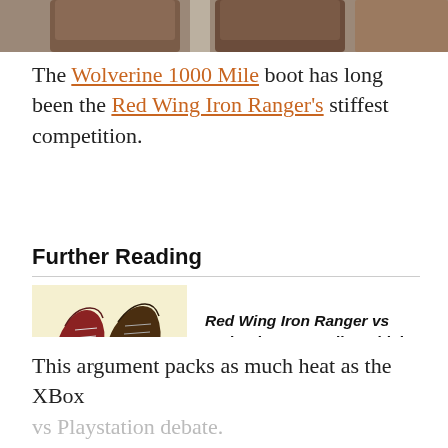[Figure (photo): Top portion of boots photo, cropped at the top of the page]
The Wolverine 1000 Mile boot has long been the Red Wing Iron Ranger's stiffest competition.
Further Reading
[Figure (photo): Two boots side by side on a pale yellow background — a red/burgundy boot on the left and a dark brown boot on the right]
Red Wing Iron Ranger vs Wolverine 1000 Mile: Which is Better?
This argument packs as much heat as the XBox vs Playstation debate.